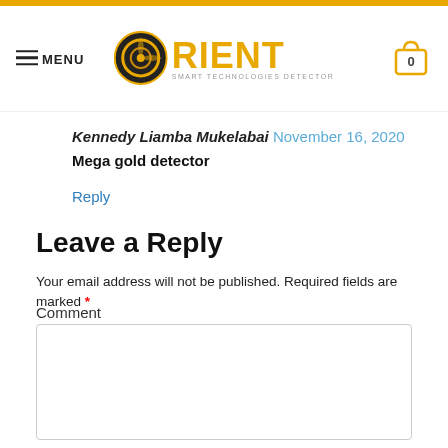Orient Smart Technologies Detector — MENU, Logo, Cart (0)
Kennedy Liamba Mukelabai November 16, 2020
Mega gold detector
Reply
Leave a Reply
Your email address will not be published. Required fields are marked *
Comment